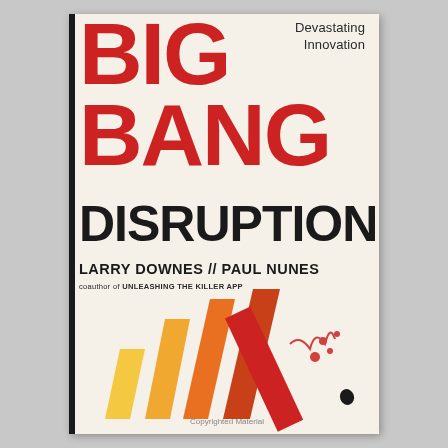BIG BANG DISRUPTION
Devastating Innovation
LARRY DOWNES // PAUL NUNES
coauthor of UNLEASHING THE KILLER APP
[Figure (illustration): Bar chart illustration with yellow, orange, dark orange, red gradient bars increasing in height from left to right, with the rightmost red bar partially toppled/broken, and a small figure falling off]
Copyrighted Material